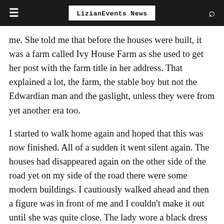LizianEvents News
me. She told me that before the houses were built, it was a farm called Ivy House Farm as she used to get her post with the farm title in her address. That explained a lot, the farm, the stable boy but not the Edwardian man and the gaslight, unless they were from yet another era too.
I started to walk home again and hoped that this was now finished. All of a sudden it went silent again. The houses had disappeared again on the other side of the road yet on my side of the road there were some modern buildings. I cautiously walked ahead and then a figure was in front of me and I couldn't make it out until she was quite close. The lady wore a black dress which puffed out from the waist. Her hair was tied back as in a bun and she looked mournful. Her expression